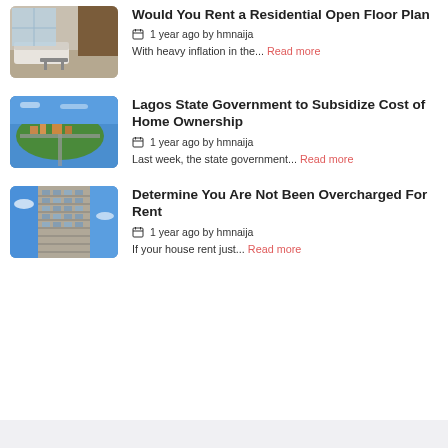[Figure (photo): Interior living room with modern open floor plan]
Would You Rent a Residential Open Floor Plan
1 year ago by hmnaija
With heavy inflation in the... Read more
[Figure (photo): Aerial view of Lagos waterfront neighborhood]
Lagos State Government to Subsidize Cost of Home Ownership
1 year ago by hmnaija
Last week, the state government... Read more
[Figure (photo): Tall residential apartment building viewed from below against blue sky]
Determine You Are Not Been Overcharged For Rent
1 year ago by hmnaija
If your house rent just... Read more